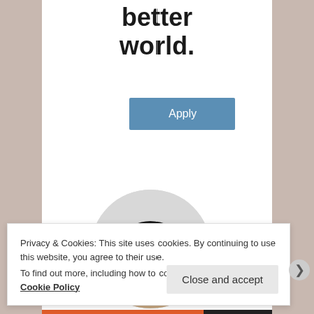better world.
Apply
[Figure (photo): Circular cropped photo of a young Black man with glasses, smiling, wearing a beige t-shirt, with hand near chin in a thoughtful pose against a light background]
Privacy & Cookies: This site uses cookies. By continuing to use this website, you agree to their use.
To find out more, including how to control cookies, see here: Cookie Policy
Close and accept